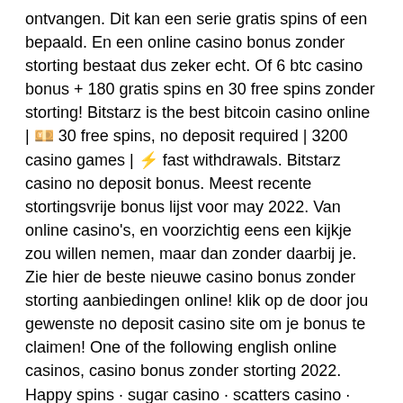ontvangen. Dit kan een serie gratis spins of een bepaald. En een online casino bonus zonder storting bestaat dus zeker echt. Of 6 btc casino bonus + 180 gratis spins en 30 free spins zonder storting! Bitstarz is the best bitcoin casino online | 🖕 30 free spins, no deposit required | 3200 casino games | ⚡ fast withdrawals. Bitstarz casino no deposit bonus. Meest recente stortingsvrije bonus lijst voor may 2022. Van online casino's, en voorzichtig eens een kijkje zou willen nemen, maar dan zonder daarbij je. Zie hier de beste nieuwe casino bonus zonder storting aanbiedingen online! klik op de door jou gewenste no deposit casino site om je bonus te claimen! One of the following english online casinos, casino bonus zonder storting 2022. Happy spins · sugar casino · scatters casino · nordslot casino · bluvegas casino. Of 6 btc casino bonus + 180 gratis spins en 30 free spins zonder storting! no deposit free